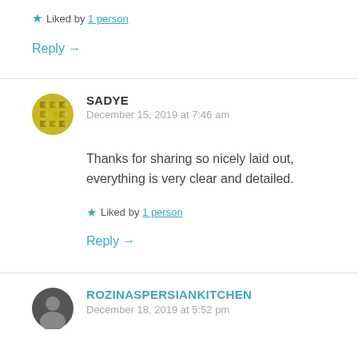★ Liked by 1 person
Reply →
SADYE
December 15, 2019 at 7:46 am
Thanks for sharing so nicely laid out, everything is very clear and detailed.
★ Liked by 1 person
Reply →
ROZINASPERSIANKITCHEN
December 18, 2019 at 5:52 pm